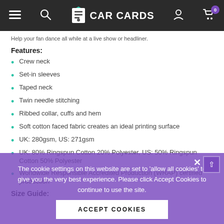CAR CARDS
Help your fan dance all while at a live show or headliner.
Features:
Crew neck
Set-in sleeves
Taped neck
Twin needle stitching
Ribbed collar, cuffs and hem
Soft cotton faced fabric creates an ideal printing surface
UK: 280gsm, US: 271gsm
UK: 80% Ringspun Cotton 20% Polyester, US: 50% Ringspun Cotton 50% Polyester
Worldwide Responsible Accredited Production (WRAP) certified production
Size Guide:
The cookie settings on this website are set to 'allow all cookies' to give you the very best experience. Please click Accept Cookies to continue to use the site.